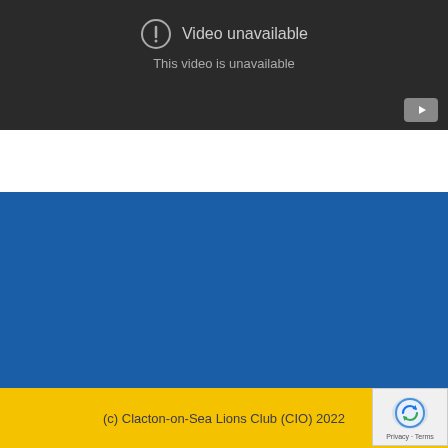[Figure (screenshot): YouTube embedded video player showing 'Video unavailable' error message with exclamation icon on dark background, YouTube logo in bottom right corner]
[Figure (other): Blue background section (website footer area, no visible text)]
(c) Clacton-on-Sea Lions Club (CIO) 2022
[Figure (other): reCAPTCHA badge with logo and Privacy/Terms links]